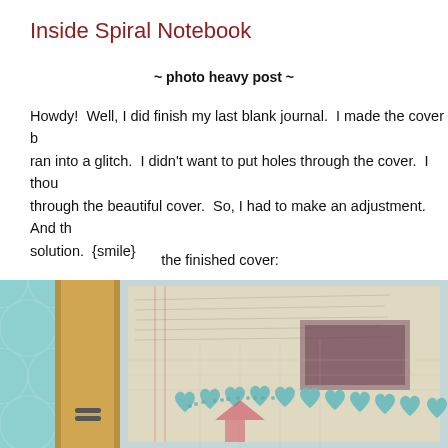Inside Spiral Notebook
~ photo heavy post ~
Howdy!  Well, I did finish my last blank journal.  I made the cover b... ran into a glitch.  I didn't want to put holes through the cover.  I thou... through the beautiful cover.  So, I had to make an adjustment.  And th... solution.  {smile}
the finished cover:
[Figure (photo): A handmade journal with a wooden spine and a decorative cover featuring paper collage, script text, vintage imagery, and teal crochet lace heart trim, set against a teal patterned background.]